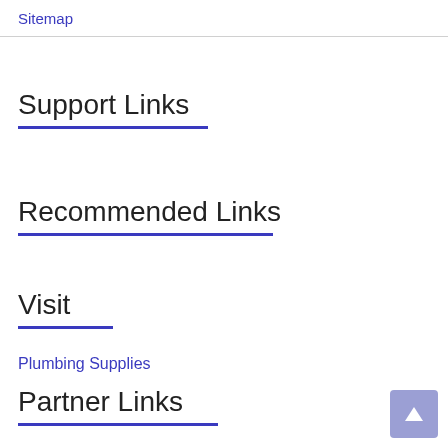Sitemap
Support Links
Recommended Links
Visit
Plumbing Supplies
Partner Links